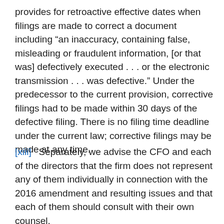provides for retroactive effective dates when filings are made to correct a document including “an inaccuracy, containing false, misleading or fraudulent information, [or that was] defectively executed . . . or the electronic transmission . . . was defective.” Under the predecessor to the current provision, corrective filings had to be made within 30 days of the defective filing. There is no filing time deadline under the current law; corrective filings may be made at any time.
[xiii]  Separately, we advise the CFO and each of the directors that the firm does not represent any of them individually in connection with the 2016 amendment and resulting issues and that each of them should consult with their own counsel.